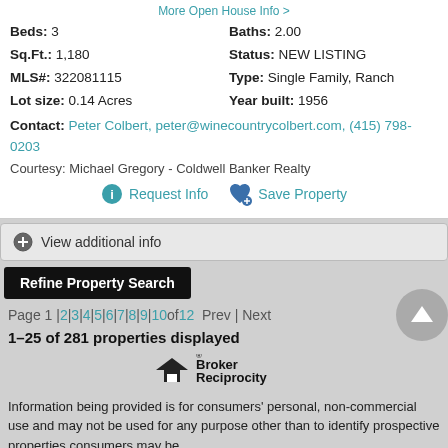More Open House Info >
Beds: 3   Baths: 2.00   Sq.Ft.: 1,180   Status: NEW LISTING   MLS#: 322081115   Type: Single Family, Ranch   Lot size: 0.14 Acres   Year built: 1956
Contact: Peter Colbert, peter@winecountrycolbert.com, (415) 798-0203
Courtesy: Michael Gregory - Coldwell Banker Realty
Request Info   Save Property
View additional info
Refine Property Search
Page 1 | 2 | 3 | 4 | 5 | 6 | 7 | 8 | 9 | 10 of 12   Prev | Next
1–25 of 281 properties displayed
[Figure (logo): Broker Reciprocity logo with house icon]
Information being provided is for consumers' personal, non-commercial use and may not be used for any purpose other than to identify prospective properties consumers may be